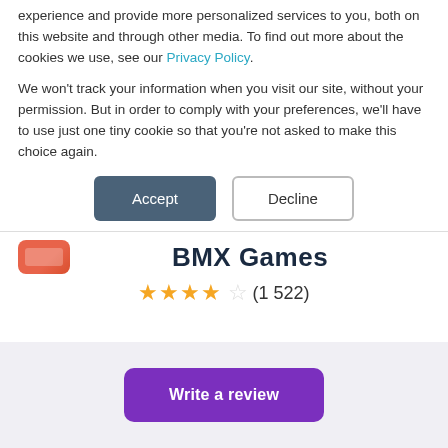experience and provide more personalized services to you, both on this website and through other media. To find out more about the cookies we use, see our Privacy Policy.
We won't track your information when you visit our site, without your permission. But in order to comply with your preferences, we'll have to use just one tiny cookie so that you're not asked to make this choice again.
[Figure (other): Two buttons: Accept (dark blue-grey filled) and Decline (white with border)]
BMX Games
★★★★☆ (1 522)
[Figure (other): Write a review button (purple rounded rectangle)]